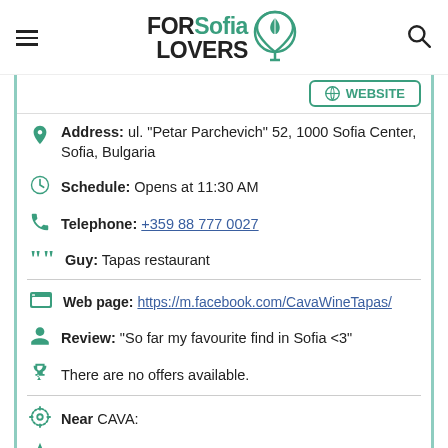[Figure (logo): FORSofia LOVERS logo with map pin icon]
Address: ul. "Petar Parchevich" 52, 1000 Sofia Center, Sofia, Bulgaria
Schedule: Opens at 11:30 AM
Telephone: +359 88 777 0027
Guy: Tapas restaurant
Web page: https://m.facebook.com/CavaWineTapas/
Review: "So far my favourite find in Sofia <3"
There are no offers available.
Near CAVA:
a 23 meters away pottery classes: matzalo
a 23 meters away piercing shops in: The Ink Files ©